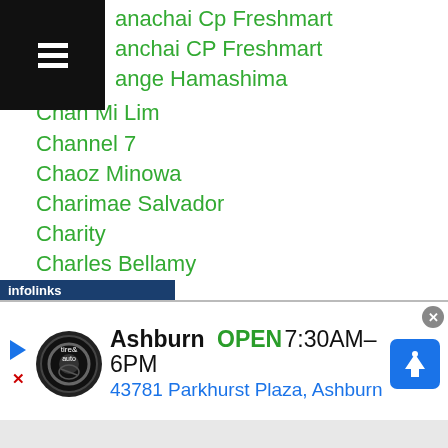anachai Cp Freshmart
anchai CP Freshmart
ange Hamashima
Chan Mi Lim
Channel 7
Chaoz Minowa
Charimae Salvador
Charity
Charles Bellamy
Charlie Ota
Charly Suarez
Chartchai Chionoi
Chatchai Butdee
Chatpetch Sithmorseng
Chayaphon Moonsri
Cheng Su
[Figure (screenshot): Advertisement banner: Tire & Auto shop in Ashburn, OPEN 7:30AM-6PM, 43781 Parkhurst Plaza, Ashburn. Infolinks label visible.]